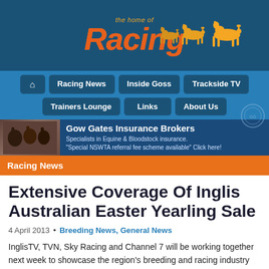[Figure (logo): the home of Racing logo with horse silhouettes on dark blue background]
[Figure (screenshot): Navigation bar with Home, Racing News, Inside Goss, Trackside TV, Trainers Lounge, Links, About Us buttons on blue background]
[Figure (photo): Gow Gates Insurance Brokers advertisement banner with horses photo]
Racing News
Extensive Coverage Of Inglis Australian Easter Yearling Sale
4 April 2013 • Breeding News, General News
InglisTV, TVN, Sky Racing and Channel 7 will be working together next week to showcase the region's breeding and racing industry via extensive coverage of the 2013 Inglis Australian Easter